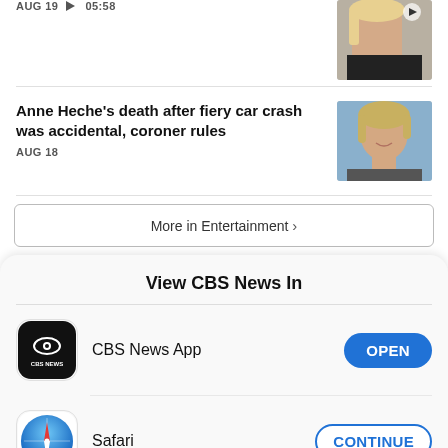AUG 19  ▶ 05:58
[Figure (photo): Thumbnail of a blonde woman in a black top, with a video play icon overlay]
Anne Heche's death after fiery car crash was accidental, coroner rules
AUG 18
[Figure (photo): Close-up photo of Anne Heche, a woman with blonde hair, smiling]
More in Entertainment ›
View CBS News In
[Figure (logo): CBS News app icon — black square with rounded corners, CBS eye logo and CBS NEWS text in white]
CBS News App
OPEN
[Figure (logo): Safari browser icon — blue circle with compass/arrow design]
Safari
CONTINUE